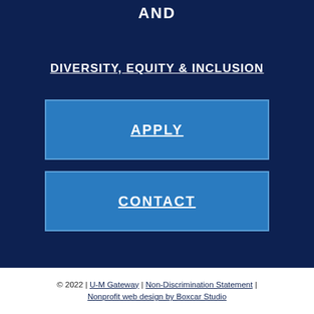AND
DIVERSITY, EQUITY & INCLUSION
APPLY
CONTACT
© 2022 | U-M Gateway | Non-Discrimination Statement | Nonprofit web design by Boxcar Studio